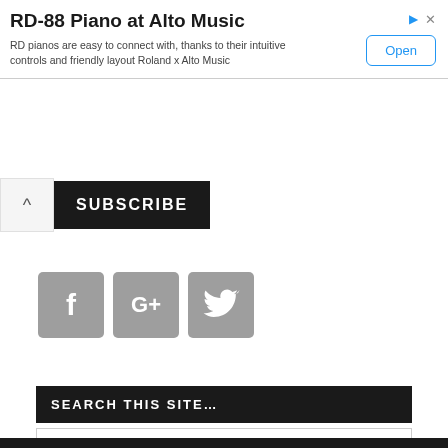[Figure (screenshot): Advertisement banner for RD-88 Piano at Alto Music with title, description, and Open button]
RD-88 Piano at Alto Music
RD pianos are easy to connect with, thanks to their intuitive controls and friendly layout Roland x Alto Music
SUBSCRIBE
[Figure (other): Social media icons: Facebook (f), Google+ (G+), Twitter bird]
SEARCH THIS SITE...
Search the site ...